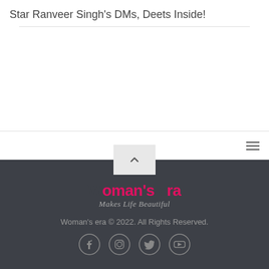Star Ranveer Singh's DMs, Deets Inside!
[Figure (logo): Woman's era logo with tagline 'Makes Life Beautiful' on dark footer background]
Woman's era © 2022. All Rights Reserved.